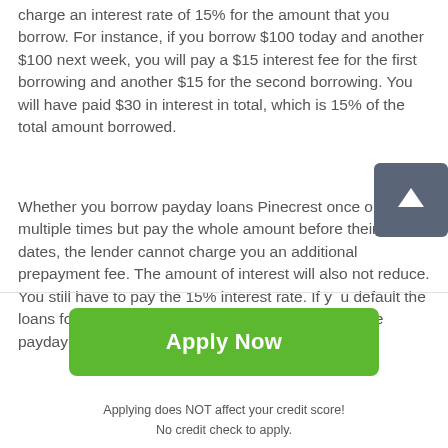charge an interest rate of 15% for the amount that you borrow. For instance, if you borrow $100 today and another $100 next week, you will pay a $15 interest fee for the first borrowing and another $15 for the second borrowing. You will have paid $30 in interest in total, which is 15% of the total amount borrowed.
Whether you borrow payday loans Pinecrest once or multiple times but pay the whole amount before their due dates, the lender cannot charge you an additional prepayment fee. The amount of interest will also not reduce. You still have to pay the 15% interest rate. If you default the loans for whatever reason, the law does not allow the payday lender to charge a fee for collecting the
[Figure (other): Dark grey square button with upward arrow icon (scroll to top button)]
Apply Now
Applying does NOT affect your credit score!
No credit check to apply.